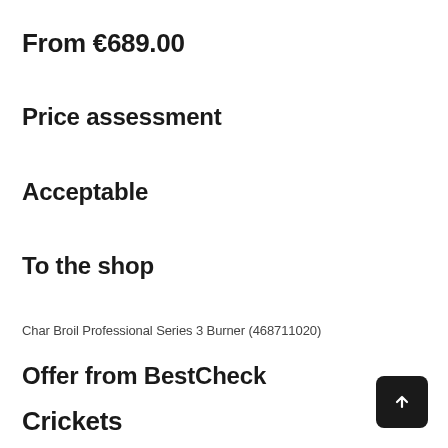From €689.00
Price assessment
Acceptable
To the shop
Char Broil Professional Series 3 Burner (468711020)
Offer from BestCheck
Crickets